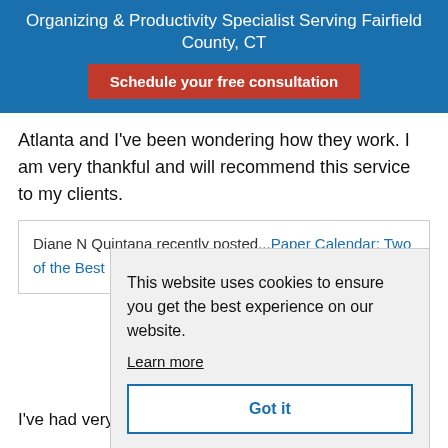Organizing & Productivity Specialist Serving Fairfield County, CT
Schedule your free consultation
Atlanta and I've been wondering how they work. I am very thankful and will recommend this service to my clients.
Diane N Quintana recently posted...Paper Calendar: Two of the Best Reasons to Use One
This website uses cookies to ensure you get the best experience on our website. Learn more Got it
I've had very positive interactions with The Real Real,